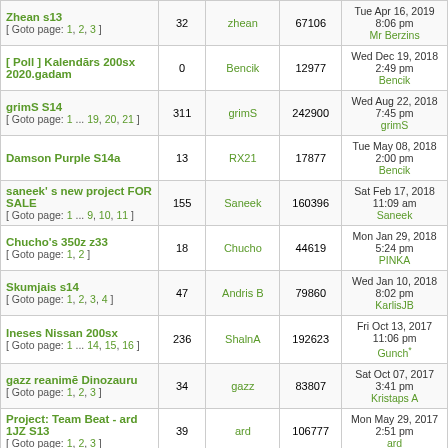| Topic | Replies | Author | Views | Last post |
| --- | --- | --- | --- | --- |
| Zhean s13
[ Goto page: 1, 2, 3 ] | 32 | zhean | 67106 | Tue Apr 16, 2019 8:06 pm
Mr Berzins |
| [ Poll ] Kalendārs 200sx 2020.gadam | 0 | Bencik | 12977 | Wed Dec 19, 2018 2:49 pm
Bencik |
| grimS S14
[ Goto page: 1 ... 19, 20, 21 ] | 311 | grimS | 242900 | Wed Aug 22, 2018 7:45 pm
grimS |
| Damson Purple S14a | 13 | RX21 | 17877 | Tue May 08, 2018 2:00 pm
Bencik |
| saneek's new project FOR SALE
[ Goto page: 1 ... 9, 10, 11 ] | 155 | Saneek | 160396 | Sat Feb 17, 2018 11:09 am
Saneek |
| Chucho's 350z z33
[ Goto page: 1, 2 ] | 18 | Chucho | 44619 | Mon Jan 29, 2018 5:24 pm
PINKA |
| Skumjais s14
[ Goto page: 1, 2, 3, 4 ] | 47 | Andris B | 79860 | Wed Jan 10, 2018 8:02 pm
KarlisJB |
| Ineses Nissan 200sx
[ Goto page: 1 ... 14, 15, 16 ] | 236 | ShalnA | 192623 | Fri Oct 13, 2017 11:06 pm
Gunch* |
| gazz reanimē Dinozauru
[ Goto page: 1, 2, 3 ] | 34 | gazz | 83807 | Sat Oct 07, 2017 3:41 pm
Kristaps A |
| Project: Team Beat - ard 1JZ S13
[ Goto page: 1, 2, 3 ] | 39 | ard | 106777 | Mon May 29, 2017 2:51 pm
ard |
| Raikina RBS13
[ Goto page: 1 ... 5, 6, 7 ] | 95 | Raikins | 142898 | Tue Mar 28, 2017 9:37 am
PINKA |